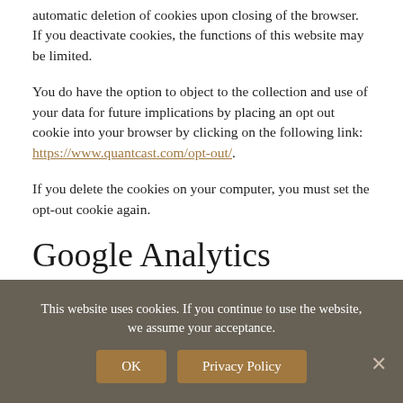automatic deletion of cookies upon closing of the browser. If you deactivate cookies, the functions of this website may be limited.
You do have the option to object to the collection and use of your data for future implications by placing an opt out cookie into your browser by clicking on the following link: https://www.quantcast.com/opt-out/.
If you delete the cookies on your computer, you must set the opt-out cookie again.
Google Analytics Remarketing
Our websites use the functions of Google Analytics Remarketing in combination with the functions of Google AdWords and Google DoubleClick, which work on all devices. The provider of these
This website uses cookies. If you continue to use the website, we assume your acceptance.